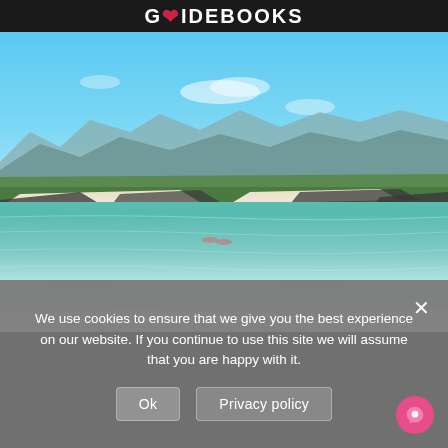GUIDEBOOKS
[Figure (photo): Coastal landscape with turquoise-blue water in the foreground, a sandy beach and rocky shoreline in the middle distance, green land and mountains in the background under a clear blue sky. Two people appear to be kayaking in the water.]
We use cookies to ensure that we give you the best experience on our website. If you continue to use this site we will assume that you are happy with it.
Ok   Privacy policy